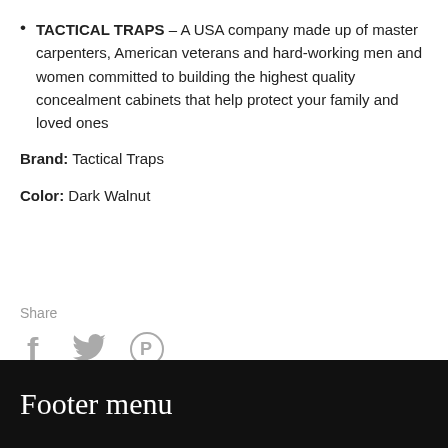TACTICAL TRAPS – A USA company made up of master carpenters, American veterans and hard-working men and women committed to building the highest quality concealment cabinets that help protect your family and loved ones
Brand: Tactical Traps
Color: Dark Walnut
Share
[Figure (other): Social media share icons: Facebook (f), Twitter (bird), Pinterest (P circle)]
Footer menu